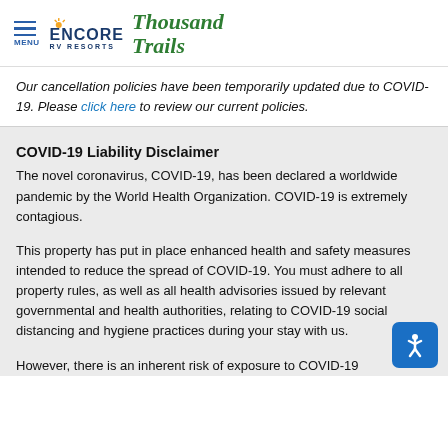MENU | ENCORE RV RESORTS Thousand Trails
Our cancellation policies have been temporarily updated due to COVID-19. Please click here to review our current policies.
COVID-19 Liability Disclaimer
The novel coronavirus, COVID-19, has been declared a worldwide pandemic by the World Health Organization. COVID-19 is extremely contagious.
This property has put in place enhanced health and safety measures intended to reduce the spread of COVID-19. You must adhere to all property rules, as well as all health advisories issued by relevant governmental and health authorities, relating to COVID-19 social distancing and hygiene practices during your stay with us.
However, there is an inherent risk of exposure to COVID-19